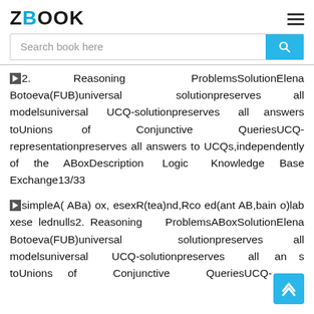ZBOOK
Search book here
2. Reasoning ProblemsSolutionElena Botoeva(FUB)universal solutionpreserves all modelsuniversal UCQ-solutionpreserves all answers toUnions of Conjunctive QueriesUCQ-representationpreserves all answers to UCQs,independently of the ABoxDescription Logic Knowledge Base Exchange13/33
simpleA( ABa) ox, esexR(tea)nd,Rco ed(ant AB,bain o)lab xese lednulls2. Reasoning ProblemsABoxSolutionElena Botoeva(FUB)universal solutionpreserves all modelsuniversal UCQ-solutionpreserves all answers toUnions of Conjunctive QueriesUCQ-